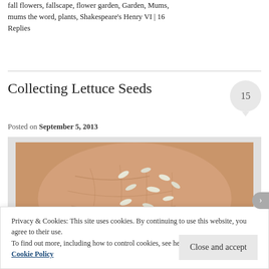fall flowers, fallscape, flower garden, Garden, Mums, mums the word, plants, Shakespeare's Henry VI | 16 Replies
Collecting Lettuce Seeds
Posted on September 5, 2013
[Figure (photo): Close-up photo of an elderly hand holding small white lettuce seeds on the palm]
Privacy & Cookies: This site uses cookies. By continuing to use this website, you agree to their use.
To find out more, including how to control cookies, see here: Cookie Policy